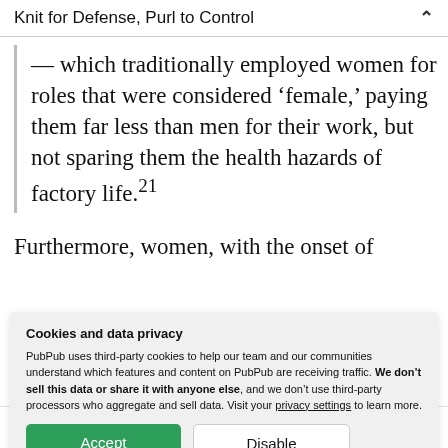Knit for Defense, Purl to Control
— which traditionally employed women for roles that were considered 'female,' paying them far less than men for their work, but not sparing them the health hazards of factory life.21
Furthermore, women, with the onset of
Cookies and data privacy
PubPub uses third-party cookies to help our team and our communities understand which features and content on PubPub are receiving traffic. We don't sell this data or share it with anyone else, and we don't use third-party processors who aggregate and sell data. Visit your privacy settings to learn more.
Crucially, one must consider the